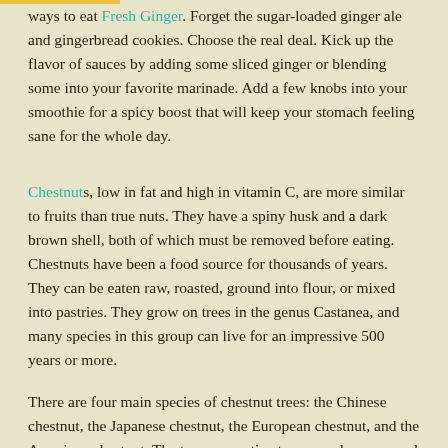ways to eat Fresh Ginger. Forget the sugar-loaded ginger ale and gingerbread cookies. Choose the real deal. Kick up the flavor of sauces by adding some sliced ginger or blending some into your favorite marinade. Add a few knobs into your smoothie for a spicy boost that will keep your stomach feeling sane for the whole day.
Chestnuts, low in fat and high in vitamin C, are more similar to fruits than true nuts. They have a spiny husk and a dark brown shell, both of which must be removed before eating. Chestnuts have been a food source for thousands of years. They can be eaten raw, roasted, ground into flour, or mixed into pastries. They grow on trees in the genus Castanea, and many species in this group can live for an impressive 500 years or more.
There are four main species of chestnut trees: the Chinese chestnut, the Japanese chestnut, the European chestnut, and the American chestnut. The trees are native to many places around the world, but once had a much smaller growing area before people began to transplant them.
The American chestnut tree was once common across the eastern United States, but it was nearly wiped out by a fungal infestation in the early 1900s. The European chestnut or Castanea sativa is the...